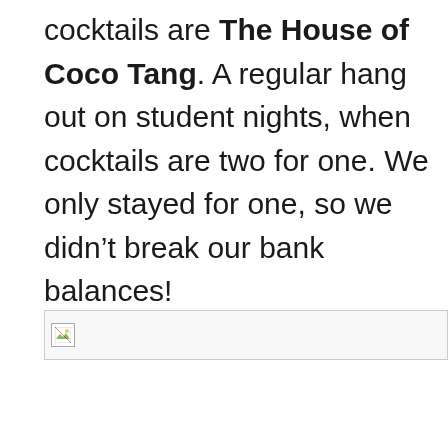cocktails are The House of Coco Tang. A regular hang out on student nights, when cocktails are two for one. We only stayed for one, so we didn't break our bank balances!
[Figure (photo): Broken image placeholder icon indicating a missing or unloaded image]